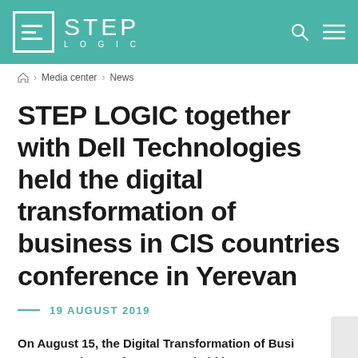STEP LOGIC
Media center > News
STEP LOGIC together with Dell Technologies held the digital transformation of business in CIS countries conference in Yerevan
19 AUGUST 2019
On August 15, the Digital Transformation of Business in CIS Countries conference was held by STEP LOGIC...